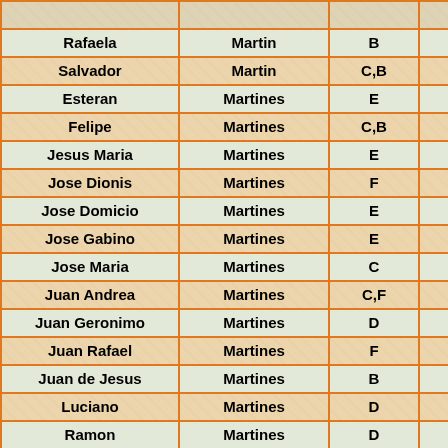| First Name | Last Name | Code |  |
| --- | --- | --- | --- |
| Rafaela | Martin | B |  |
| Salvador | Martin | C,B |  |
| Esteran | Martines | E |  |
| Felipe | Martines | C,B |  |
| Jesus Maria | Martines | E |  |
| Jose Dionis | Martines | F |  |
| Jose Domicio | Martines | E |  |
| Jose Gabino | Martines | E |  |
| Jose Maria | Martines | C |  |
| Juan Andrea | Martines | C,F |  |
| Juan Geronimo | Martines | D |  |
| Juan Rafael | Martines | F |  |
| Juan de Jesus | Martines | B |  |
| Luciano | Martines | D |  |
| Ramon | Martines | D |  |